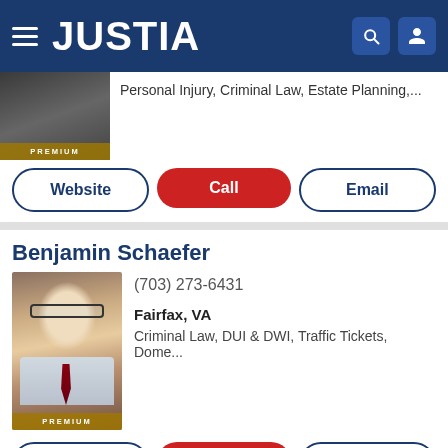JUSTIA
Personal Injury, Criminal Law, Estate Planning,...
Website | Call | Email
Benjamin Schaefer
(703) 273-6431
Fairfax, VA
Criminal Law, DUI & DWI, Traffic Tickets, Dome...
Website | Call | Email
Faraji A. Rosenthall
(703) 934-0101